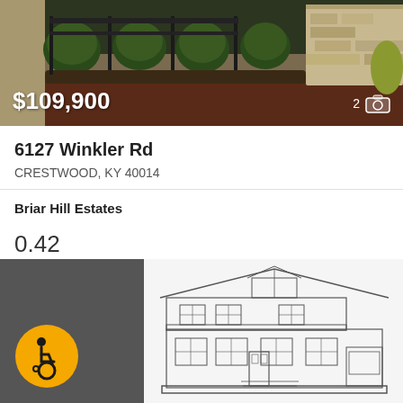[Figure (photo): Real estate listing photo showing landscaping with shrubs and stone wall, price overlay $109,900]
6127 Winkler Rd
CRESTWOOD, KY 40014
Briar Hill Estates
0.42
Acres
IDX RE/MAX Real Estate Center
[Figure (illustration): Two-story house architectural elevation drawing (line art) on light background, flanked by dark gray panels; accessibility wheelchair icon on left panel, heart/favorite icon on right panel]